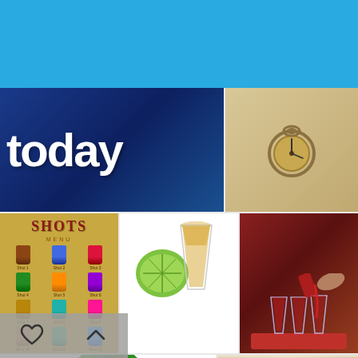[Figure (screenshot): Mobile image search interface showing search bar with 'shots' query and 'All Images' dropdown, on blue background, with orange search button]
[Figure (photo): Blue background with partial white text reading 'today']
[Figure (photo): Compass or pocket watch on beige/gold background]
[Figure (illustration): Shots menu poster on golden background with multiple shot glass illustrations]
[Figure (photo): Tequila shot glass with lime on white background]
[Figure (photo): Bartender pouring red liquid into shot glasses on bar with red backdrop]
[Figure (photo): Christmas tree with colorful ornaments and gifts underneath on white background]
[Figure (photo): Person with hands cupped around stacks of gold coins arranged in ascending order]